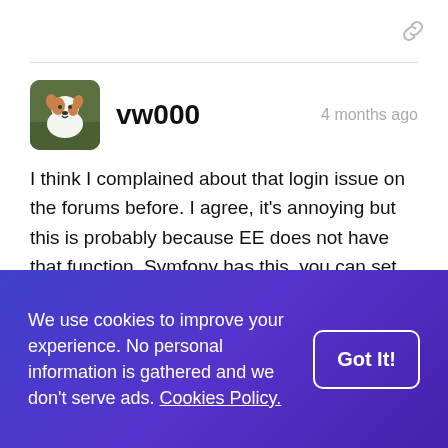[Figure (other): Chain link icon in top right corner]
[Figure (photo): Avatar photo of a Jack Russell terrier dog]
vw000
4 months ago
I think I complained about that login issue on the forums before. I agree, it's annoying but this is probably because EE does not have that function. Symfony has this, you can set the URL that will be redirected after login and so do other frameworks. I do agree that would be helpful to be able to redirect to the previous page after login. Another thing
We use cookies to improve your experience. No personal information is gathered and we don't serve ads. Cookies Policy.